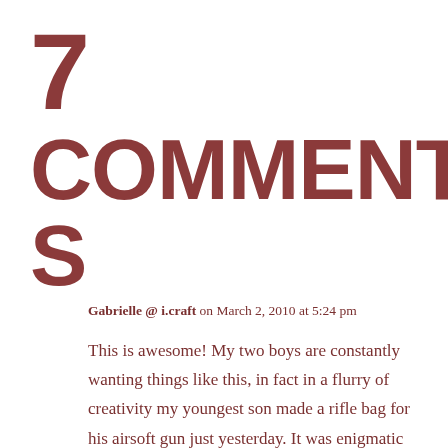7 COMMENTS
Gabrielle @ i.craft on March 2, 2010 at 5:24 pm
This is awesome! My two boys are constantly wanting things like this, in fact in a flurry of creativity my youngest son made a rifle bag for his airsoft gun just yesterday. It was enigmatic to watch a 12 year old who can create and sew